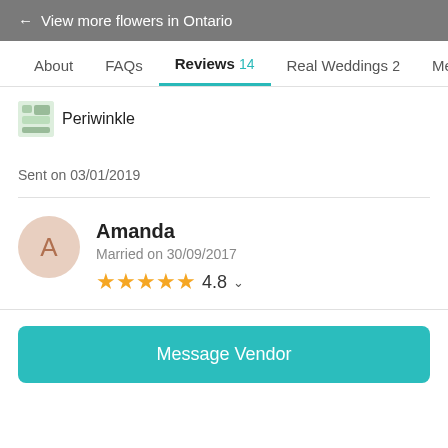← View more flowers in Ontario
About   FAQs   Reviews 14   Real Weddings 2   Meet the
[Figure (logo): Small flower shop logo icon]
Periwinkle
Sent on 03/01/2019
Amanda
Married on 30/09/2017
★★★★★ 4.8
Message Vendor